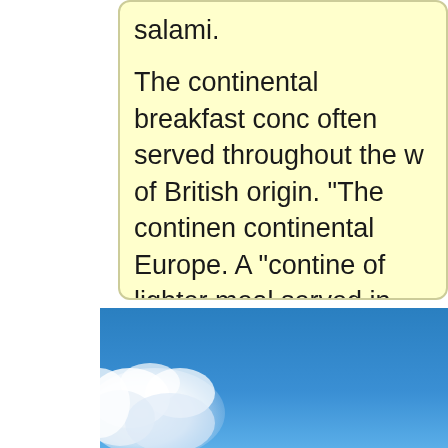salami.

The continental breakfast conc often served throughout the w of British origin. "The continen continental Europe. A "contine of lighter meal served in contin English breakfast.
[Figure (photo): Blue sky with white clouds, partially visible in the lower portion of the page.]